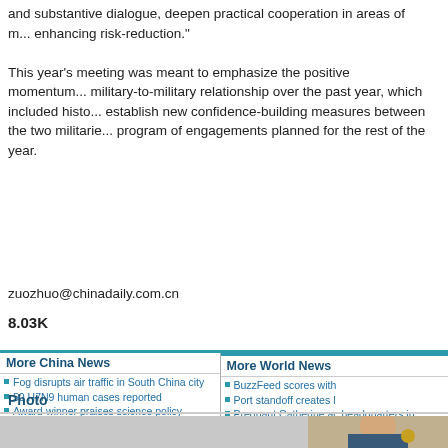and substantive dialogue, deepen practical cooperation in areas of mutual interest while enhancing risk-reduction."
This year's meeting was meant to emphasize the positive momentum in the military-to-military relationship over the past year, which included historic agreements to establish new confidence-building measures between the two militaries, along with a full program of engagements planned for the rest of the year.
zuozhuo@chinadaily.com.cn
8.03K
More China News
Fog disrupts air traffic in South China city
50 H7N9 human cases reported
Award-winner praises science policy
The things Chinese do for love
Official says hostage takers shoot selves in Taiwan prison
Free treatment to be offered for erectile dysfunction
More World News
BuzzFeed scores with
Port standoff creates l
Pregnant Catherine ac headquarters in southe
Greece fully committe
Pakistan, China vow t
US must help to safeg
Photo
[Figure (photo): Photo of a young woman with brown hair holding what appears to be a golden award/trophy, photographed at an event]